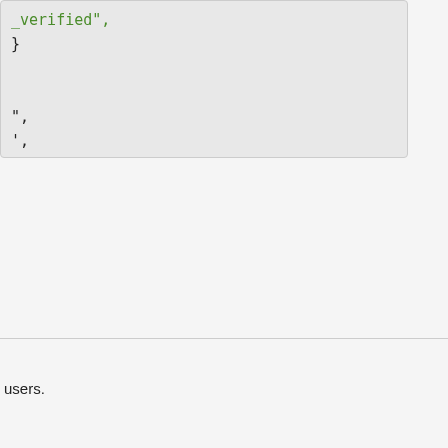_verified",
}

",
',
0@example.com"


089817.683,
  1548089817.683,

HANGE_PASSWORD"
users.